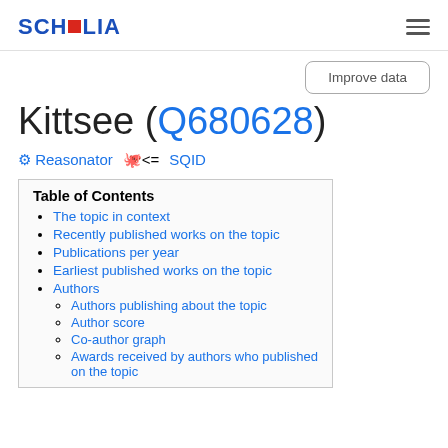SCHOLIA
Kittsee (Q680628)
Reasonator  SQID
Table of Contents
The topic in context
Recently published works on the topic
Publications per year
Earliest published works on the topic
Authors
Authors publishing about the topic
Author score
Co-author graph
Awards received by authors who published on the topic